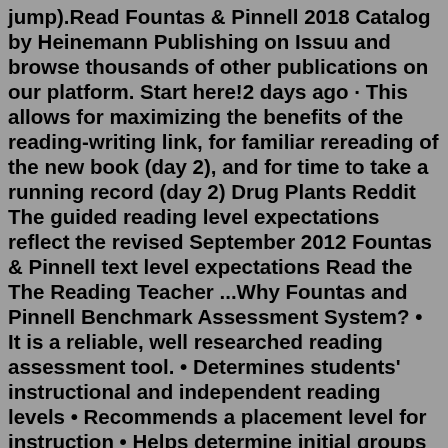jump).Read Fountas & Pinnell 2018 Catalog by Heinemann Publishing on Issuu and browse thousands of other publications on our platform. Start here!2 days ago · This allows for maximizing the benefits of the reading-writing link, for familiar rereading of the new book (day 2), and for time to take a running record (day 2) Drug Plants Reddit The guided reading level expectations reflect the revised September 2012 Fountas & Pinnell text level expectations Read the The Reading Teacher ...Why Fountas and Pinnell Benchmark Assessment System? • It is a reliable, well researched reading assessment tool. • Determines students' instructional and independent reading levels • Recommends a placement level for instruction • Helps determine initial groups for instruction • Identifies students for interventionThe benefits are greatest when the child is an active participant". Fountas and Pinnell are also big supporters of Interactive Read Alouds: “Interactive Read Aloud is the foundation of a community that shares literary understandings